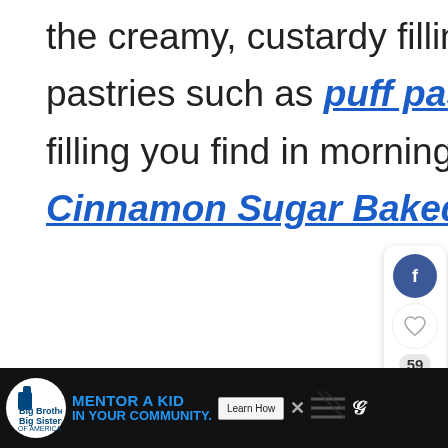the creamy, custardy filling in tarts, layer cakes, or pastries such as puff pastries; it's also the cream filling you find in morning pastries such as these Cinnamon Sugar Baked Donuts Cream Filling!
[Figure (screenshot): Social sharing sidebar showing Facebook icon, heart/like icon, count of 59, and share icon with plus sign]
[Figure (screenshot): What's Next panel showing Broccoli Pasta with Sausag... with a food thumbnail]
[Figure (screenshot): Advertisement banner for Big Brothers Big Sisters: MENTOR A KID IN YOUR COMMUNITY with Learn How button]